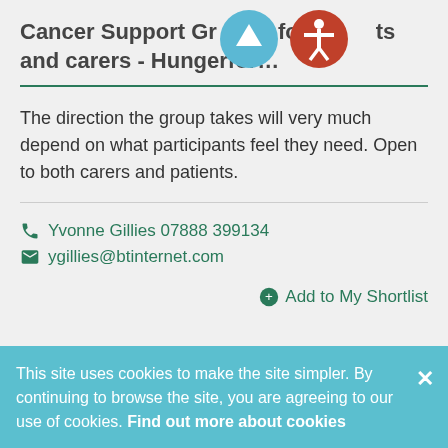Cancer Support Group for patients and carers - Hungerford
The direction the group takes will very much depend on what participants feel they need. Open to both carers and patients.
Yvonne Gillies 07888 399134
ygillies@btinternet.com
Add to My Shortlist
This site uses cookies to make the site simpler. By continuing to browse the site, you are agreeing to our use of cookies. Find out more about cookies